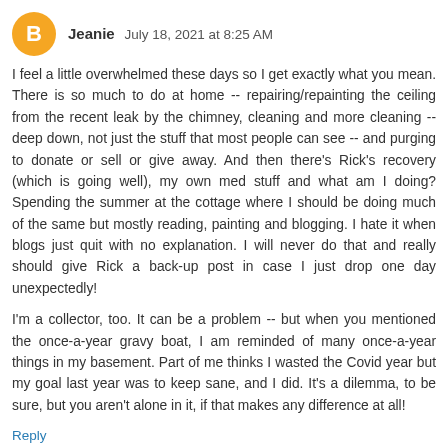Jeanie  July 18, 2021 at 8:25 AM
I feel a little overwhelmed these days so I get exactly what you mean. There is so much to do at home -- repairing/repainting the ceiling from the recent leak by the chimney, cleaning and more cleaning -- deep down, not just the stuff that most people can see -- and purging to donate or sell or give away. And then there's Rick's recovery (which is going well), my own med stuff and what am I doing? Spending the summer at the cottage where I should be doing much of the same but mostly reading, painting and blogging. I hate it when blogs just quit with no explanation. I will never do that and really should give Rick a back-up post in case I just drop one day unexpectedly!
I'm a collector, too. It can be a problem -- but when you mentioned the once-a-year gravy boat, I am reminded of many once-a-year things in my basement. Part of me thinks I wasted the Covid year but my goal last year was to keep sane, and I did. It's a dilemma, to be sure, but you aren't alone in it, if that makes any difference at all!
Reply